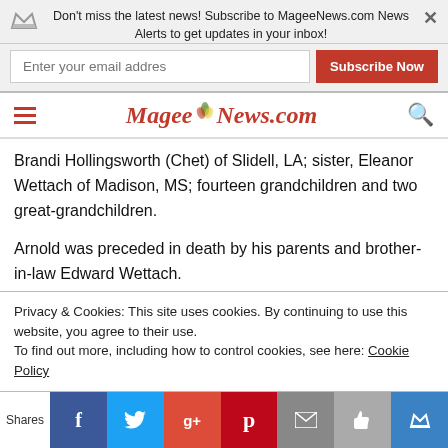Don't miss the latest news! Subscribe to MageeNews.com News Alerts to get updates in your inbox!
Brandi Hollingsworth (Chet) of Slidell, LA; sister, Eleanor Wettach of Madison, MS; fourteen grandchildren and two great-grandchildren.
Arnold was preceded in death by his parents and brother-in-law Edward Wettach.
Visitation for family and friends will be held on Thursday
Privacy & Cookies: This site uses cookies. By continuing to use this website, you agree to their use.
To find out more, including how to control cookies, see here: Cookie Policy
Shares | Facebook | Twitter | Google+ | Pinterest | Email | Like | Crown